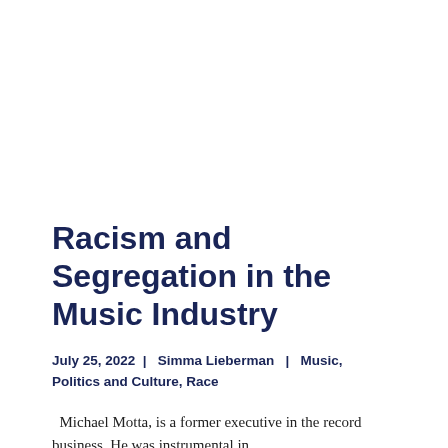Racism and Segregation in the Music Industry
July 25, 2022  |  Simma Lieberman  |  Music, Politics and Culture, Race
Michael Motta, is a former executive in the record business. He was instrumental in launching many the careers of some of the world's most…